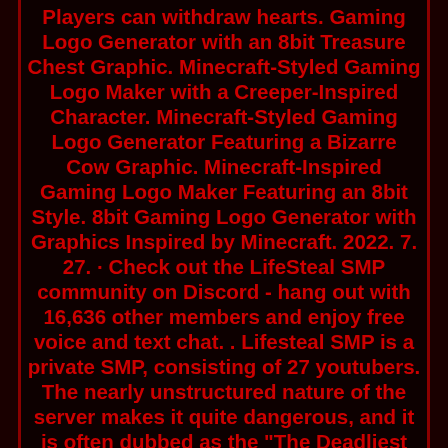Players can withdraw hearts. Gaming Logo Generator with an 8bit Treasure Chest Graphic. Minecraft-Styled Gaming Logo Maker with a Creeper-Inspired Character. Minecraft-Styled Gaming Logo Generator Featuring a Bizarre Cow Graphic. Minecraft-Inspired Gaming Logo Maker Featuring an 8bit Style. 8bit Gaming Logo Generator with Graphics Inspired by Minecraft. 2022. 7. 27. · Check out the LifeSteal SMP community on Discord - hang out with 16,636 other members and enjoy free voice and text chat. . Lifesteal SMP is a private SMP, consisting of 27 youtubers. The nearly unstructured nature of the server makes it quite dangerous, and it is often dubbed as the "The Deadliest Minecraft SMP", but there's one more thing that makes it deadly. If you die, you lose a heart. If you kill someone, you gain a heart. Enter you business name, choose from a range of minecraft logo templates and customize your logo in minutes with our online logo maker. Our leading logo creator has a over 3000 logo templates to choose from! Simply type in any keyword in our search bar and find the perfect logo for your business. Start designing now.